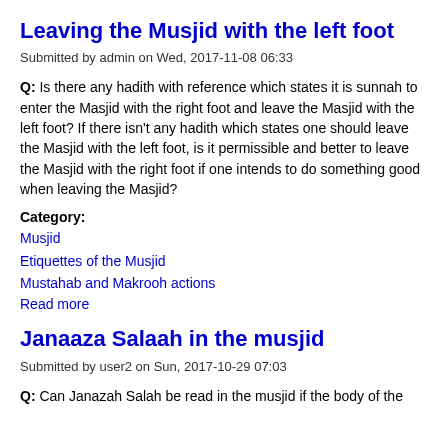Leaving the Musjid with the left foot
Submitted by admin on Wed, 2017-11-08 06:33
Q: Is there any hadith with reference which states it is sunnah to enter the Masjid with the right foot and leave the Masjid with the left foot? If there isn't any hadith which states one should leave the Masjid with the left foot, is it permissible and better to leave the Masjid with the right foot if one intends to do something good when leaving the Masjid?
Category:
Musjid
Etiquettes of the Musjid
Mustahab and Makrooh actions
Read more
Janaaza Salaah in the musjid
Submitted by user2 on Sun, 2017-10-29 07:03
Q: Can Janazah Salah be read in the musjid if the body of the